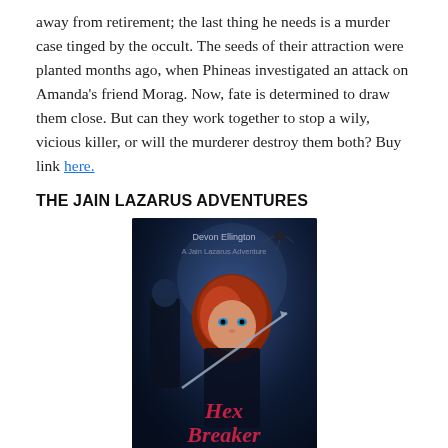away from retirement; the last thing he needs is a murder case tinged by the occult. The seeds of their attraction were planted months ago, when Phineas investigated an attack on Amanda's friend Morag. Now, fate is determined to draw them close. But can they work together to stop a wily, vicious killer, or will the murderer destroy them both? Buy link here.
THE JAIN LAZARUS ADVENTURES
[Figure (photo): Book cover for Hex Breaker by Devon Ellington. A Jain Lazarus Adventure. Dark blue-toned cover featuring a red-haired woman and a man in the background, with the title Hex Breaker in stylized text.]
Hex Breaker by Devon Ellington. A Jain Lazarus Adventure. Hex Breaker Jain Lazarus joins the crew of a cursed film, teaming with tough, practical Detective Wyatt East on an adventure fighting zombies, ceremonial magicians, the town wife-beater, the messenger of the gods,